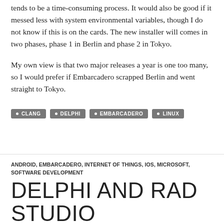tends to be a time-consuming process. It would also be good if it messed less with system environmental variables, though I do not know if this is on the cards. The new installer will comes in two phases, phase 1 in Berlin and phase 2 in Tokyo.
My own view is that two major releases a year is one too many, so I would prefer if Embarcadero scrapped Berlin and went straight to Tokyo.
CLANG
DELPHI
EMBARCADERO
LINUX
ANDROID, EMBARCADERO, INTERNET OF THINGS, IOS, MICROSOFT, SOFTWARE DEVELOPMENT
DELPHI AND RAD STUDIO